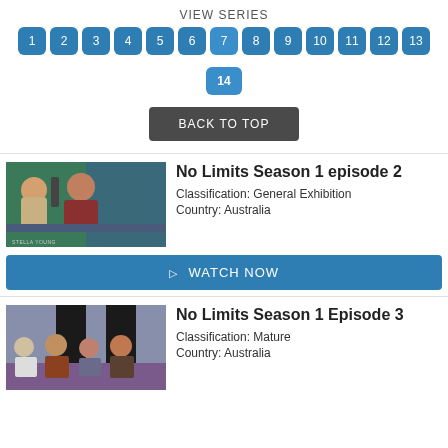VIEW SERIES
1 2 3 4 5 6 7 8 9 10 11 12 13 14
BACK TO TOP
No Limits Season 1 episode 2
Classification: General Exhibition
Country: Australia
WATCH NOW
[Figure (photo): TV show still showing a woman in red top and a baby, with name card reading STELLA YOUNG]
No Limits Season 1 Episode 3
Classification: Mature
Country: Australia
[Figure (photo): TV show still showing four people seated at a table on a purple/grey set]